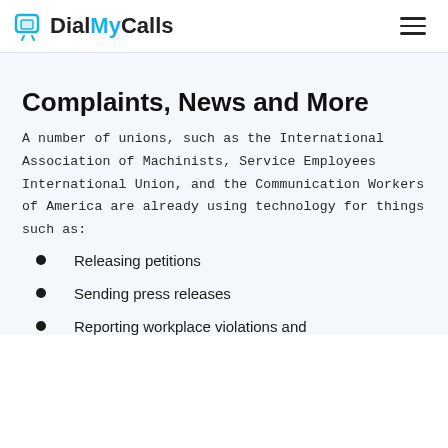DialMyCalls
Complaints, News and More
A number of unions, such as the International Association of Machinists, Service Employees International Union, and the Communication Workers of America are already using technology for things such as:
Releasing petitions
Sending press releases
Reporting workplace violations and